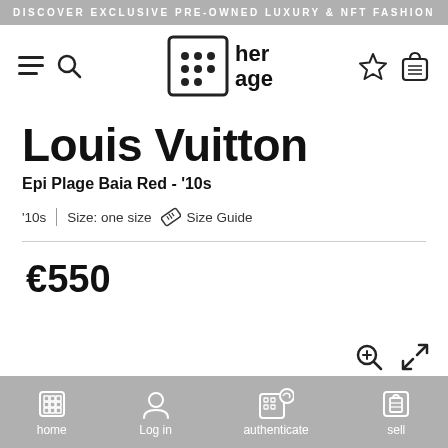DISCOVER EXCLUSIVE PRE-OWNED LUXURY & NFT FASHION
[Figure (logo): her age logo with grid icon]
Louis Vuitton
Epi Plage Baia Red - '10s
'10s  |  Size: one size   Size Guide
€550
home  Log in  authenticate  sell